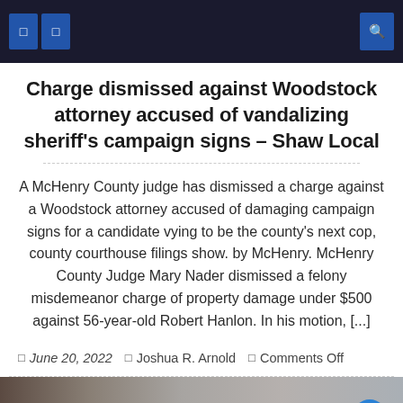Navigation bar with menu icons and search
Charge dismissed against Woodstock attorney accused of vandalizing sheriff's campaign signs – Shaw Local
A McHenry County judge has dismissed a charge against a Woodstock attorney accused of damaging campaign signs for a candidate vying to be the county's next cop, county courthouse filings show. by McHenry. McHenry County Judge Mary Nader dismissed a felony misdemeanor charge of property damage under $500 against 56-year-old Robert Hanlon. In his motion, [...]
June 20, 2022   Joshua R. Arnold   Comments Off
[Figure (photo): Partial view of a blurred outdoor/street scene photo at the bottom of the page]